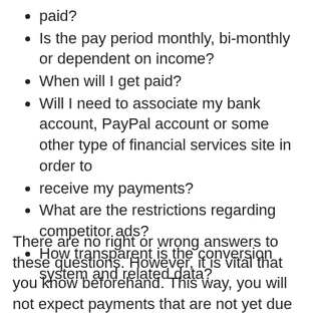paid?
Is the pay period monthly, bi-monthly or dependent on income?
When will I get paid?
Will I need to associate my bank account, PayPal account or some other type of financial services site in order to
receive my payments?
What are the restrictions regarding competitor ads?
How transparent is the conversion system and related data?
There are no right or wrong answers to these questions. However, it is vital that you know beforehand. This way, you will not expect payments that are not yet due you. Utilizing